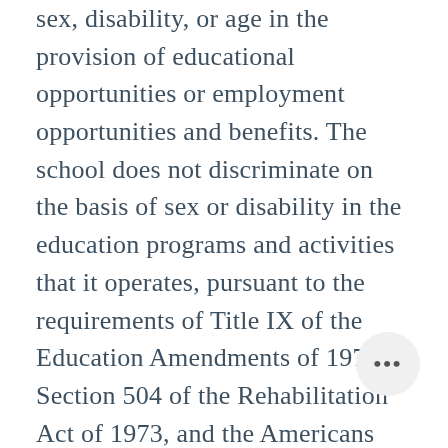sex, disability, or age in the provision of educational opportunities or employment opportunities and benefits. The school does not discriminate on the basis of sex or disability in the education programs and activities that it operates, pursuant to the requirements of Title IX of the Education Amendments of 1972, Section 504 of the Rehabilitation Act of 1973, and the Americans with Disabilities Act of 1990, respectively. The right not to be discriminated against extends to both employees and students of the school and shall include equal access to designated youth organizations in conformity with the Boy Scouts of America Equal Access